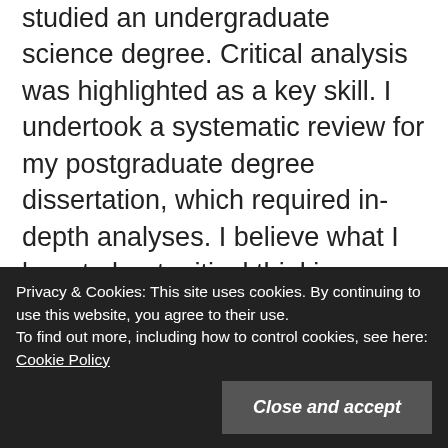studied an undergraduate science degree. Critical analysis was highlighted as a key skill. I undertook a systematic review for my postgraduate degree dissertation, which required in-depth analyses. I believe what I learnt about critical thinking was one of the most valuable skills I learnt at university. But, I think we shouldn't need to wait until university to learn these skills. I think we should begin actively developing them when we start school. Thanks for your interest.
Privacy & Cookies: This site uses cookies. By continuing to use this website, you agree to their use. To find out more, including how to control cookies, see here: Cookie Policy
Close and accept